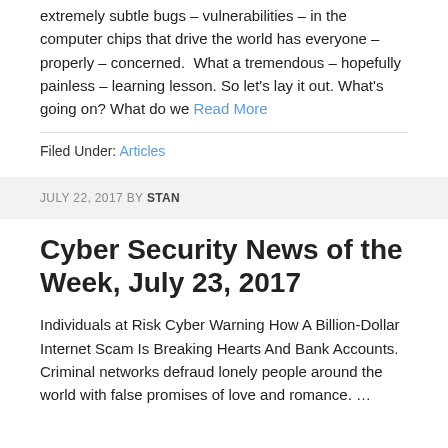extremely subtle bugs – vulnerabilities – in the computer chips that drive the world has everyone – properly – concerned.  What a tremendous – hopefully painless – learning lesson. So let's lay it out. What's going on? What do we Read More
Filed Under: Articles
JULY 22, 2017 BY STAN
Cyber Security News of the Week, July 23, 2017
Individuals at Risk Cyber Warning How A Billion-Dollar Internet Scam Is Breaking Hearts And Bank Accounts. Criminal networks defraud lonely people around the world with false promises of love and romance. ...